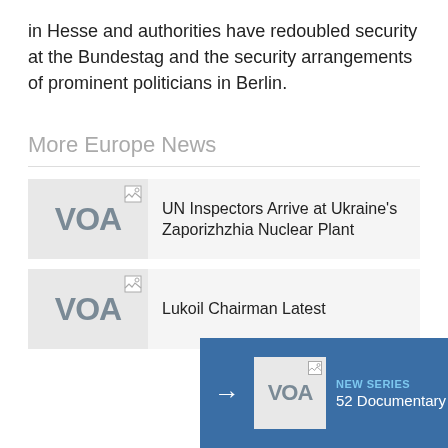in Hesse and authorities have redoubled security at the Bundestag and the security arrangements of prominent politicians in Berlin.
More Europe News
[Figure (screenshot): News item with VOA logo thumbnail and headline: UN Inspectors Arrive at Ukraine's Zaporizhzhia Nuclear Plant]
[Figure (screenshot): News item with VOA logo thumbnail and headline: Lukoil Chairman Latest]
[Figure (screenshot): Overlay panel with blue background, arrow, VOA logo, NEW SERIES label, 52 Documentary text]